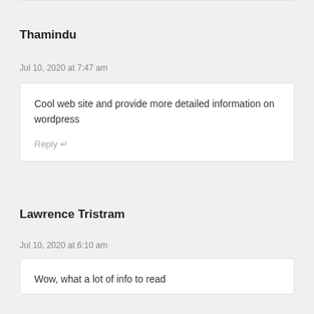Thamindu
Jul 10, 2020 at 7:47 am
Cool web site and provide more detailed information on wordpress
Reply ↵
Lawrence Tristram
Jul 10, 2020 at 6:10 am
Wow, what a lot of info to read